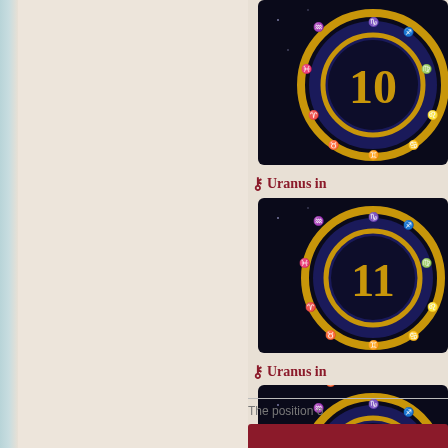[Figure (illustration): Astrology zodiac wheel card showing number 10 with zodiac symbols on dark blue background with gold ring]
⚷ Uranus in
[Figure (illustration): Astrology zodiac wheel card showing number 11 with zodiac symbols on dark blue background with gold ring]
⚷ Uranus in
[Figure (illustration): Astrology zodiac wheel card showing number 12 with zodiac symbols on dark blue background with gold ring]
The position o